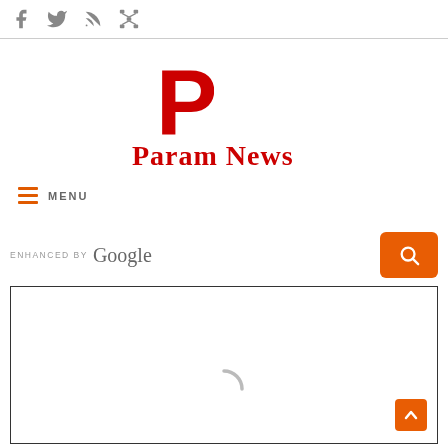[Figure (logo): Social media icons row: Facebook, Twitter, RSS feed, network/sitemap icons in grey]
[Figure (logo): Param News logo with large red stylized P above text 'Param News' in red bold serif font]
≡ MENU
ENHANCED BY Google
[Figure (screenshot): White content area box with border, showing a loading spinner arc at bottom center, and an orange back-to-top arrow button at bottom right]